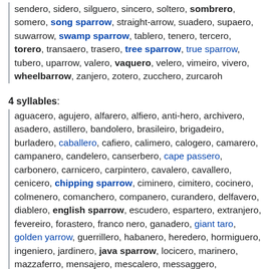sendero, sidero, silguero, sincero, soltero, sombrero, somero, song sparrow, straight-arrow, suadero, supaero, suwarrow, swamp sparrow, tablero, tenero, tercero, torero, transaero, trasero, tree sparrow, true sparrow, tubero, uparrow, valero, vaquero, velero, vimeiro, vivero, wheelbarrow, zanjero, zotero, zucchero, zurcaroh
4 syllables:
aguacero, agujero, alfarero, alfiero, anti-hero, archivero, asadero, astillero, bandolero, brasileiro, brigadeiro, burladero, caballero, cafiero, calimero, calogero, camarero, campanero, candelero, canserbero, cape passero, carbonero, carnicero, carpintero, cavalero, cavallero, cenicero, chipping sparrow, ciminero, cimitero, cocinero, colmenero, comanchero, companero, curandero, delfavero, diablero, english sparrow, escudero, espartero, extranjero, fevereiro, forastero, franco nero, ganadero, giant taro, golden yarrow, guerrillero, habanero, heredero, hormiguero, ingeniero, jardinero, java sparrow, locicero, marinero, mazzaferro, mensajero, mescalero, messaggero, messeghero, mogavero, monastero, mugavero, nakasero, new world sparrow, novillero, olivero, panadero, paradero, paterero, patintero, pederero, peluquero, peterero,